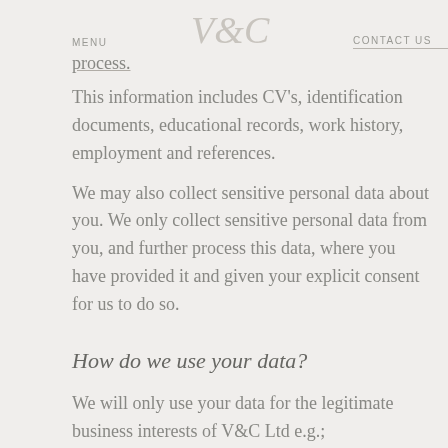MENU   [V&C logo]   CONTACT US
process.
This information includes CV's, identification documents, educational records, work history, employment and references.
We may also collect sensitive personal data about you. We only collect sensitive personal data from you, and further process this data, where you have provided it and given your explicit consent for us to do so.
How do we use your data?
We will only use your data for the legitimate business interests of V&C Ltd e.g.;
We use your personal data to match your skills, experience and education with a potential